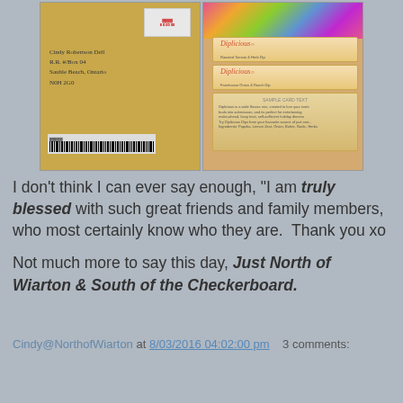[Figure (photo): Two side-by-side photos: left shows a yellow padded envelope with a red metered postage stamp and handwritten address with a barcode sticker; right shows a stack of Diplicious brand food dip packets with a colorful floral card on top, and a product information card at the bottom.]
I don't think I can ever say enough, "I am truly blessed with such great friends and family members, who most certainly know who they are.  Thank you xo

Not much more to say this day, Just North of Wiarton & South of the Checkerboard.
Cindy@NorthofWiarton at 8/03/2016 04:02:00 pm    3 comments:
Share